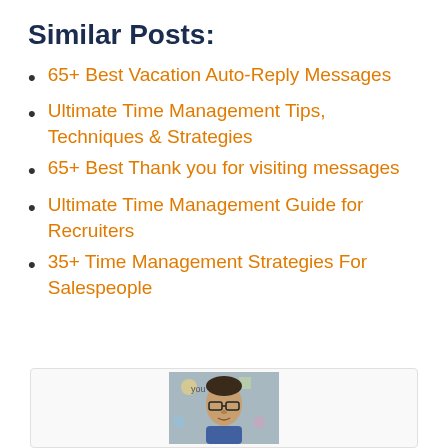Similar Posts:
65+ Best Vacation Auto-Reply Messages
Ultimate Time Management Tips, Techniques & Strategies
65+ Best Thank you for visiting messages
Ultimate Time Management Guide for Recruiters
35+ Time Management Strategies For Salespeople
[Figure (photo): Author photo at bottom of page showing a person wearing glasses]